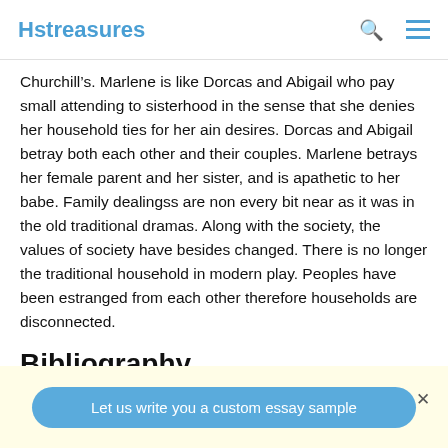Hstreasures
Churchill's. Marlene is like Dorcas and Abigail who pay small attending to sisterhood in the sense that she denies her household ties for her ain desires. Dorcas and Abigail betray both each other and their couples. Marlene betrays her female parent and her sister, and is apathetic to her babe. Family dealingss are non every bit near as it was in the old traditional dramas. Along with the society, the values of society have besides changed. There is no longer the traditional household in modern play. Peoples have been estranged from each other therefore households are disconnected.
Bibliography
Let us write you a custom essay sample